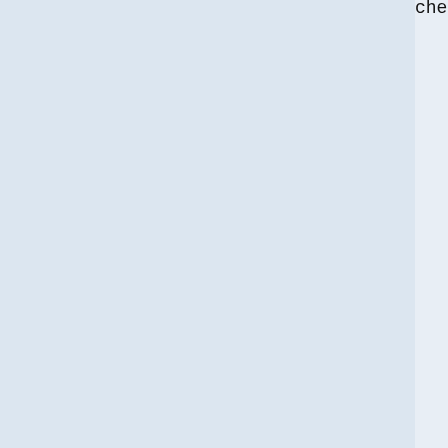checking for bindtextdomain in -lintl... no
checking for bindtextdomain in -lc... yes
checking for ngettext in -lc... yes
checking for dngettext in -lc... yes
checking for dcngettext in -lc... yes
checking for bind_textdomain_codeset in -
checking for GNU MP support... no
checking for mhash support... yes
checking whether to enable hash support...
checking whether byte ordering is bigendia
checking size of short... (cached) 2
checking size of int... (cached) 4
checking size of long... (cached) 8
checking size of long long... (cached) 8
checking for iconv support... yes
checking for iconv... yes
checking if iconv is glibc's... yes
checking if iconv supports errno... yes
checking if iconv supports //IGNORE... no
checking if your cpp allows macro usage in